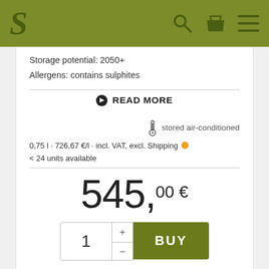S [logo] [search icon] [basket icon] [menu icon]
Storage potential: 2050+
Allergens: contains sulphites
READ MORE
stored air-conditioned
0,75 l · 726,67 €/l · incl. VAT, excl. Shipping  < 24 units available
545,00 €
1  +  -  BUY